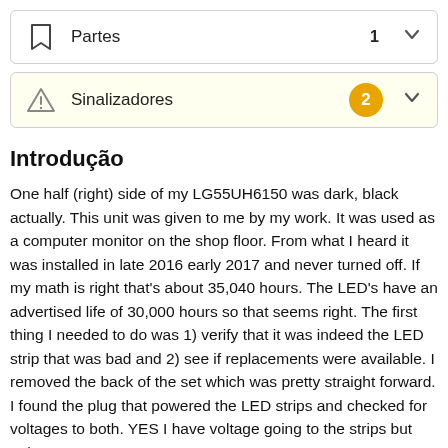Partes  1
Sinalizadores  2
Introdução
One half (right) side of my LG55UH6150 was dark, black actually. This unit was given to me by my work. It was used as a computer monitor on the shop floor. From what I heard it was installed in late 2016 early 2017 and never turned off. If my math is right that's about 35,040 hours. The LED's have an advertised life of 30,000 hours so that seems right. The first thing I needed to do was 1) verify that it was indeed the LED strip that was bad and 2) see if replacements were available. I removed the back of the set which was pretty straight forward. I found the plug that powered the LED strips and checked for voltages to both. YES I have voltage going to the strips but only one